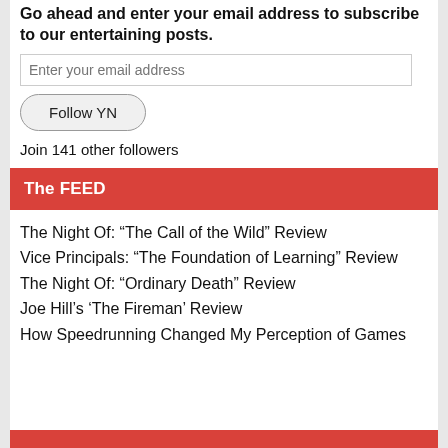Go ahead and enter your email address to subscribe to our entertaining posts.
Enter your email address
Follow YN
Join 141 other followers
The FEED
The Night Of: “The Call of the Wild” Review
Vice Principals: “The Foundation of Learning” Review
The Night Of: “Ordinary Death” Review
Joe Hill’s ‘The Fireman’ Review
How Speedrunning Changed My Perception of Games